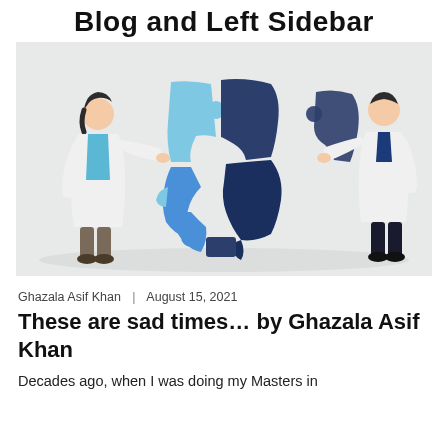Blog and Left Sidebar
[Figure (illustration): Two doctors in white lab coats assembling puzzle pieces shaped like a human head profile. The head is divided into four puzzle sections in shades of light blue, medium blue, and dark navy. The left doctor holds a bottom-left piece, while the right doctor holds an upper-right piece. Background is light grey.]
Ghazala Asif Khan  |  August 15, 2021
These are sad times… by Ghazala Asif Khan
Decades ago, when I was doing my Masters in